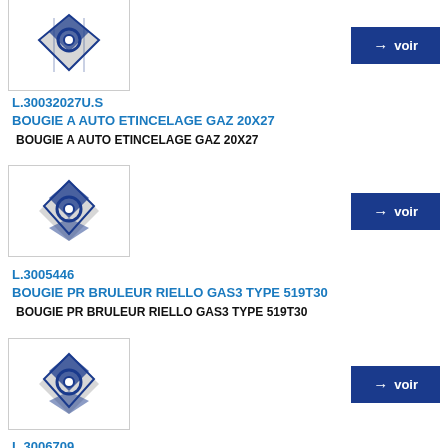[Figure (logo): Product thumbnail showing blue diamond logo with circle]
→ voir
L.30032027U.S
BOUGIE A AUTO ETINCELAGE GAZ 20X27
BOUGIE A AUTO ETINCELAGE GAZ 20X27
[Figure (logo): Product thumbnail showing blue diamond logo with circle]
→ voir
L.3005446
BOUGIE PR BRULEUR RIELLO GAS3 TYPE 519T30
BOUGIE PR BRULEUR RIELLO GAS3 TYPE 519T30
[Figure (logo): Product thumbnail showing blue diamond logo with circle]
→ voir
L.3006709
BOUGIE PR BRULEUR RIELLO 40GS20 TYPE 556T30
BOUGIE PR BRULEUR RIELLO 40GS20 TYPE 556T30